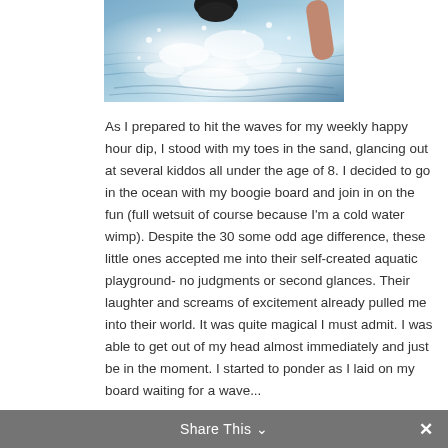[Figure (photo): A swimmer or surfer splashing in ocean water, with dark hair/head visible at top center and a bare arm on the right side, water spray and white foam prominent]
As I prepared to hit the waves for my weekly happy hour dip, I stood with my toes in the sand, glancing out at several kiddos all under the age of 8. I decided to go in the ocean with my boogie board and join in on the fun (full wetsuit of course because I'm a cold water wimp). Despite the 30 some odd age difference, these little ones accepted me into their self-created aquatic playground- no judgments or second glances. Their laughter and screams of excitement already pulled me into their world. It was quite magical I must admit. I was able to get out of my head almost immediately and just be in the moment. I started to ponder as I laid on my board waiting for a wave...
Share This ∨  ✕